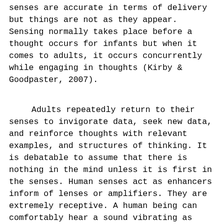senses are accurate in terms of delivery but things are not as they appear. Sensing normally takes place before a thought occurs for infants but when it comes to adults, it occurs concurrently while engaging in thoughts (Kirby & Goodpaster, 2007).

Adults repeatedly return to their senses to invigorate data, seek new data, and reinforce thoughts with relevant examples, and structures of thinking. It is debatable to assume that there is nothing in the mind unless it is first in the senses. Human senses act as enhancers inform of lenses or amplifiers. They are extremely receptive. A human being can comfortably hear a sound vibrating as high as 20,000 cycles per second, and that is the reason why human beings can differentiate peoples' voices (Kirby & Goodpaster, 2007).

When it comes to sight, a normal person can spot a candle light that is 20 miles away on a clear night.